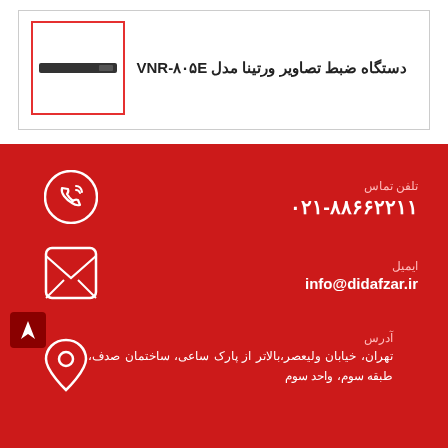دستگاه ضبط تصاویر ورتینا مدل VNR-۸۰۵E
[Figure (photo): Product image of Vertina VNR-805E video recorder device in a red-bordered box]
تلفن تماس
۰۲۱-۸۸۶۶۲۲۱۱
ایمیل
info@didafzar.ir
آدرس
تهران، خیابان ولیعصر،بالاتر از پارک ساعی، ساختمان صدف، طبقه سوم، واحد سوم